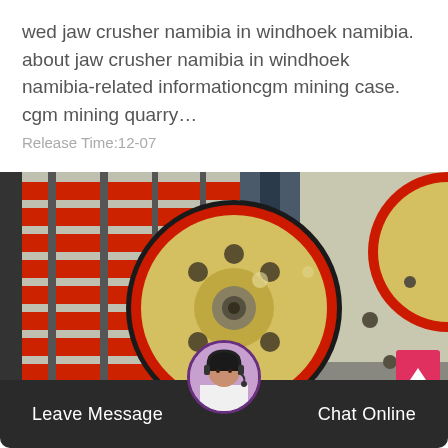wed jaw crusher namibia in windhoek namibia. about jaw crusher namibia in windhoek namibia-related informationcgm mining case. cgm mining quarry…
Release Time:12-07
[Figure (photo): Close-up photo of a large yellow and red jaw crusher flywheel/pulley in an industrial workshop setting. Red steel structure visible on the left side.]
Leave Message
Chat Online